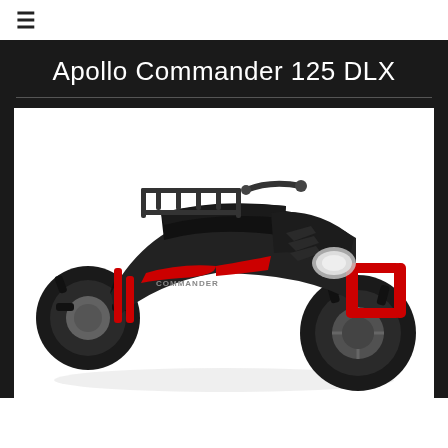≡
Apollo Commander 125 DLX
[Figure (photo): Apollo Commander 125 DLX ATV quad bike in black and red colors, photographed from a three-quarter front angle on a white background. The vehicle features large knobby tires, a front cargo rack, red front bumper/frame, red front forks, headlights, and a black seat.]